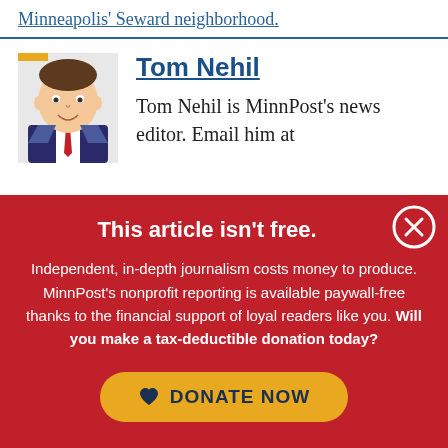Minneapolis' Seward neighborhood.
[Figure (illustration): Black and white cartoon/illustrated portrait of Tom Nehil, a man in a suit with a red tie, smiling]
Tom Nehil
Tom Nehil is MinnPost's news editor. Email him at
This article isn't free.
Independent, in-depth journalism costs money to produce. MinnPost's nonprofit reporting is available paywall-free thanks to the financial support of loyal readers like you. Will you make a tax-deductible donation today?
DONATE NOW